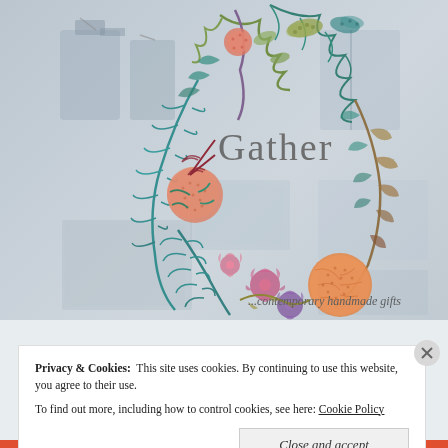[Figure (photo): A retail shop interior (blurred/faded background) with an artistic botanical wreath illustration overlaid. The wreath features colorful leaves, flowers, and seed pods in teal, orange, purple, olive, and burgundy tones. In the center of the wreath is the brand name 'Gather' in gray serif text, and in the bottom right corner is the tagline '...contemporary handmade gifts'.]
Privacy & Cookies:  This site uses cookies. By continuing to use this website, you agree to their use.
To find out more, including how to control cookies, see here: Cookie Policy
Close and accept